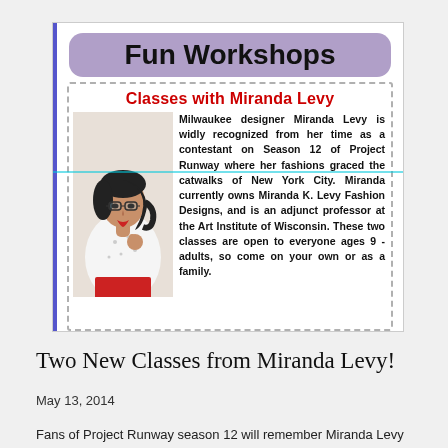[Figure (screenshot): Screenshot of a flyer for Fun Workshops classes with Miranda Levy. Features a purple rounded banner reading 'Fun Workshops', a red subheading 'Classes with Miranda Levy', a photo of a woman in a white blouse and red skirt with glasses, and descriptive text about Miranda Levy being a Milwaukee designer and Project Runway Season 12 contestant.]
Two New Classes from Miranda Levy!
May 13, 2014
Fans of Project Runway season 12 will remember Miranda Levy